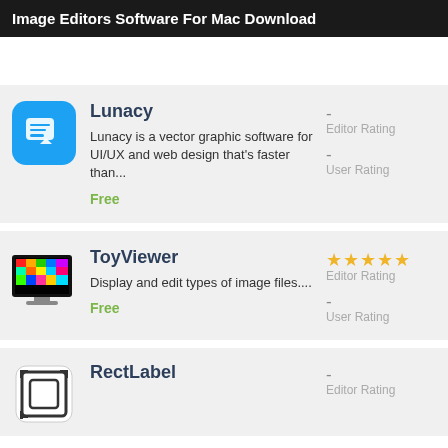Image Editors Software For Mac Download
Lunacy
Lunacy is a vector graphic software for UI/UX and web design that's faster than...
Free
- Editor Rating
- User Rating
ToyViewer
Display and edit types of image files....
Free
★★★★★ Editor Rating
- User Rating
RectLabel
- Editor Rating